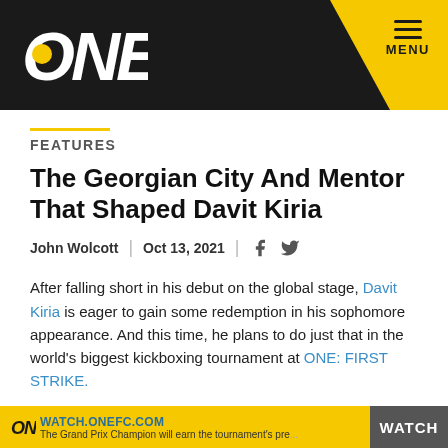[Figure (screenshot): ONE Championship website header with dark background logo area, yellow navigation bar, ENGLISH dropdown and MENU hamburger icon]
FEATURES
The Georgian City And Mentor That Shaped Davit Kiria
John Wolcott | Oct 13, 2021
After falling short in his debut on the global stage, Davit Kiria is eager to gain some redemption in his sophomore appearance. And this time, he plans to do just that in the world's biggest kickboxing tournament at ONE: FIRST STRIKE.
This Friday, 15 October, the Georgian striker takes on Enriko "The Hurricane" Kehl in the ONE Featherweight Kickboxing World Grand Prix quarterfinals.
WATCH.ONEFC.COM | The Grand Prix Champion will earn the tournament's pre... | WATCH